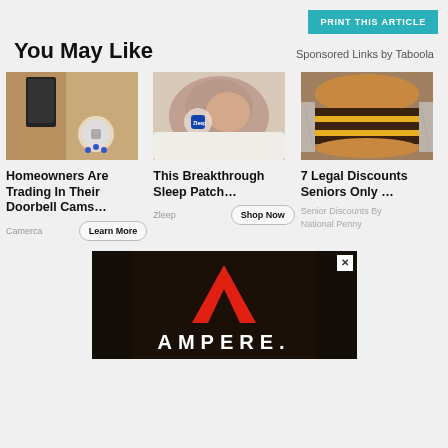PRINT THIS ARTICLE
You May Like
Sponsored Links by Taboola
[Figure (photo): Security camera held in hand near a wall lantern]
Homeowners Are Trading In Their Doorbell Cams…
Camerca
Learn More
[Figure (photo): Woman sleeping with a sleep patch on her wrist]
This Breakthrough Sleep Patch…
Zleep
Shop Now
[Figure (photo): Hamburger with multiple patties wrapped in foil]
7 Legal Discounts Seniors Only …
Senior Discounts By National Penny
[Figure (logo): Ampere logo — red triangle A shape above the word AMPERE. on dark background]